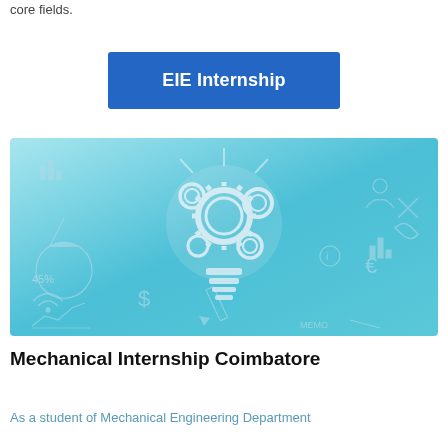core fields.
EIE Internship
[Figure (illustration): A light bulb made of interlocking gears surrounded by various business and technology icons (charts, pie chart, dollar sign, euro sign, Wi-Fi, wrench, pencil, people icons, bar chart, etc.) on a teal/cyan gradient background.]
Mechanical Internship Coimbatore
As a student of Mechanical Engineering Department